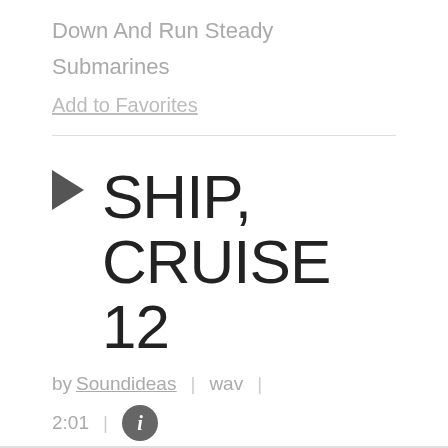Down And Run Steady
Submarines
Add to Favorites
▶ SHIP, CRUISE 12
by Soundideas | wav |
2:01 | ℹ